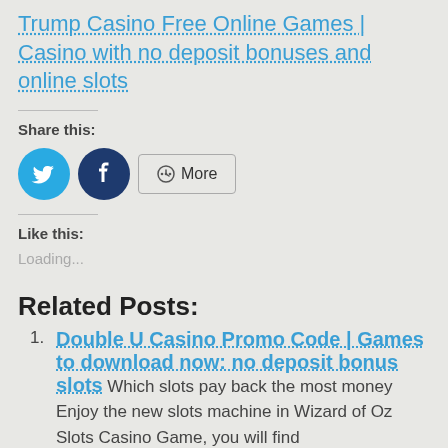Trump Casino Free Online Games | Casino with no deposit bonuses and online slots
Share this:
[Figure (infographic): Social share buttons: Twitter (blue circle with bird icon), Facebook (dark blue circle with f icon), and a More button with share icon]
Like this:
Loading...
Related Posts:
Double U Casino Promo Code | Games to download now: no deposit bonus slots Which slots pay back the most money Enjoy the new slots machine in Wizard of Oz Slots Casino Game, you will find